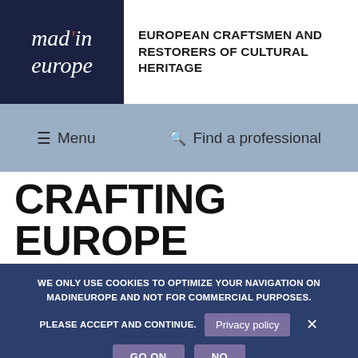[Figure (logo): Mad'in Europe logo — dark navy box with italic white script text 'mad'in europe' and a red dot over the apostrophe]
EUROPEAN CRAFTSMEN AND RESTORERS OF CULTURAL HERITAGE
☰ Menu   🔍 Find a professional
CRAFTING EUROPE
WE ONLY USE COOKIES TO OPTIMIZE YOUR NAVIGATION ON MADINEUROPE AND NOT FOR COMMERCIAL PURPOSES. PLEASE ACCEPT AND CONTINUE. Privacy policy GO ON No